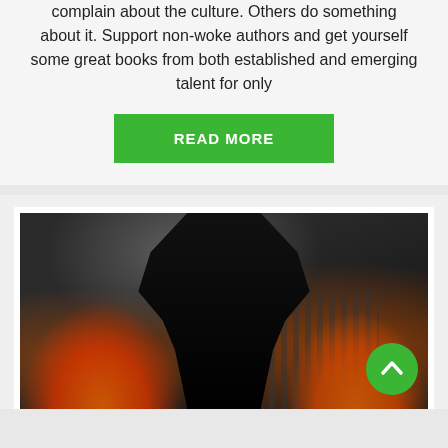complain about the culture. Others do something about it. Support non-woke authors and get yourself some great books from both established and emerging talent for only
[Figure (other): Green 'READ MORE' button]
[Figure (photo): Dark book cover image showing a silhouetted figure with a cityscape burning in the background, moonlit sky]